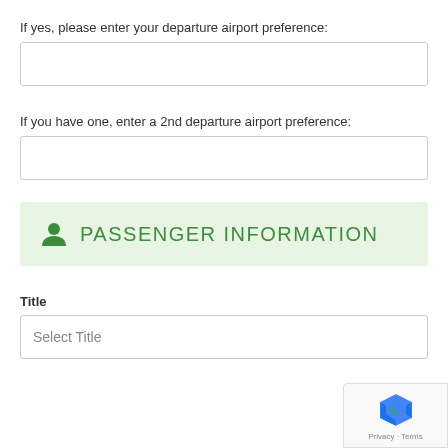If yes, please enter your departure airport preference:
If you have one, enter a 2nd departure airport preference:
PASSENGER INFORMATION
Title
Select Title